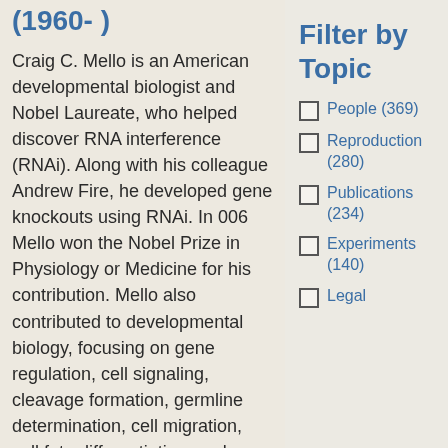(1960- )
Craig C. Mello is an American developmental biologist and Nobel Laureate, who helped discover RNA interference (RNAi). Along with his colleague Andrew Fire, he developed gene knockouts using RNAi. In 006 Mello won the Nobel Prize in Physiology or Medicine for his contribution. Mello also contributed to developmental biology, focusing on gene regulation, cell signaling, cleavage formation, germline determination, cell migration, cell fate differentiation, and
Filter by Topic
People (369)
Reproduction (280)
Publications (234)
Experiments (140)
Legal